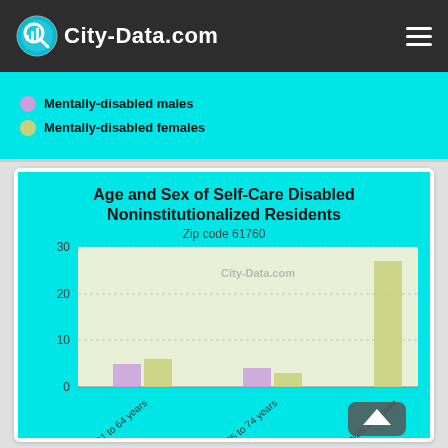City-Data.com
[Figure (other): Legend showing Mentally-disabled males (purple circle) and Mentally-disabled females (yellow-green circle)]
[Figure (grouped-bar-chart): Age and Sex of Self-Care Disabled Noninstitutionalized Residents]